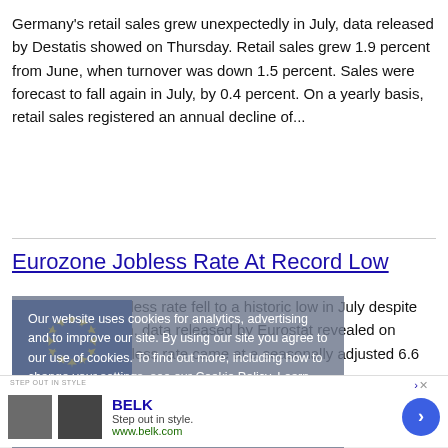Germany's retail sales grew unexpectedly in July, data released by Destatis showed on Thursday. Retail sales grew 1.9 percent from June, when turnover was down 1.5 percent. Sales were forecast to fall again in July, by 0.4 percent. On a yearly basis, retail sales registered an annual decline of...
Eurozone Jobless Rate At Record Low
The euro area jobless rate fell to a historic low in July despite years of recession, data released by Eurostat revealed on Thursday. The jobless rate came at a seasonally adjusted 6.6 percent
[Figure (photo): EU flag with blue background and yellow stars, partially obscured by cookie consent banner overlay]
Our website uses cookies for analytics, advertising and to improve our site. By using our site you agree to our use of cookies. To find out more, including how to change your settings, see our Cookie Policy. Learn More
[Figure (infographic): Advertisement banner for BELK: 'Step out in style.' with two thumbnail images and arrow button]